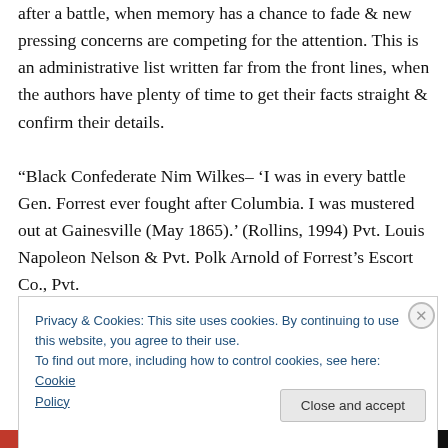after a battle, when memory has a chance to fade & new pressing concerns are competing for the attention. This is an administrative list written far from the front lines, when the authors have plenty of time to get their facts straight & confirm their details.
“Black Confederate Nim Wilkes– ‘I was in every battle Gen. Forrest ever fought after Columbia. I was mustered out at Gainesville (May 1865).’ (Rollins, 1994) Pvt. Louis Napoleon Nelson & Pvt. Polk Arnold of Forrest’s Escort Co., Pvt.
Privacy & Cookies: This site uses cookies. By continuing to use this website, you agree to their use.
To find out more, including how to control cookies, see here: Cookie Policy
Close and accept